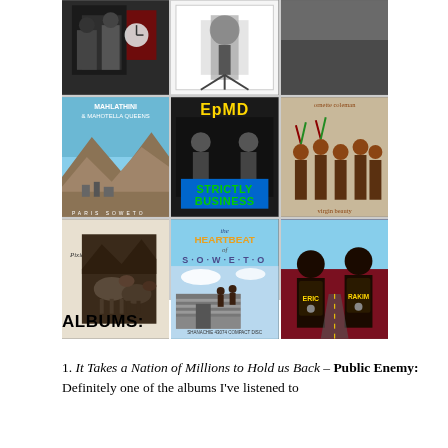[Figure (photo): 3x3 grid of album covers including Mahlathini & Mahotella Queens, EPMD Strictly Business, Ornette Coleman Virgin Beauty, Pixies, Heartbeat of Soweto, and Eric B & Rakim]
ALBUMS:
It Takes a Nation of Millions to Hold us Back – Public Enemy: Definitely one of the albums I've listened to